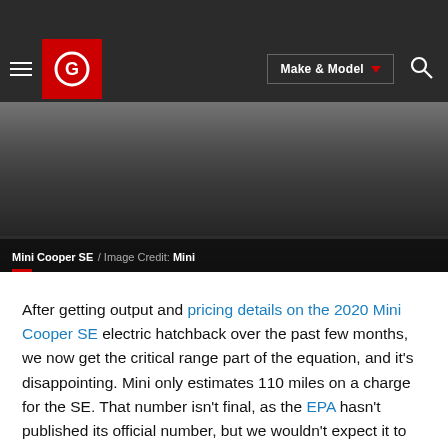[Figure (screenshot): Website navigation bar with hamburger menu, red circular logo with 'G' icon, Make & Model dropdown button, and search icon on dark background]
[Figure (photo): Close-up photo of the underside/wheels of a Mini Cooper SE electric vehicle on a road, dark background]
Mini Cooper SE / Image Credit: Mini
After getting output and pricing details on the 2020 Mini Cooper SE electric hatchback over the past few months, we now get the critical range part of the equation, and it's disappointing. Mini only estimates 110 miles on a charge for the SE. That number isn't final, as the EPA hasn't published its official number, but we wouldn't expect it to go up or down by much. This number is also lower than the European estimate of 146 to 168 miles, but we were